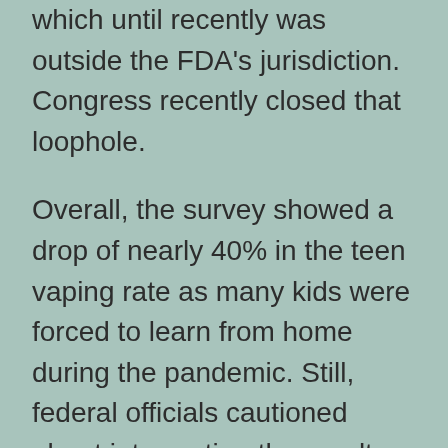which until recently was outside the FDA's jurisdiction. Congress recently closed that loophole.
Overall, the survey showed a drop of nearly 40% in the teen vaping rate as many kids were forced to learn from home during the pandemic. Still, federal officials cautioned about interpreting the results given they were collected online for the first time, instead of in classrooms.
The brainchild of two Stanford University students, Juul launched in 2015 and within two years rocketed to the top of the vaping market